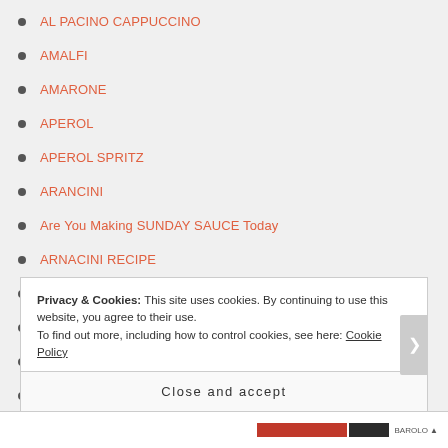AL PACINO CAPPUCCINO
AMALFI
AMARONE
APEROL
APEROL SPRITZ
ARANCINI
Are You Making SUNDAY SAUCE Today
ARNACINI RECIPE
ART
AVELINO PIZZA at Macari Vineyards
BAR PITTI
BAROLO
Privacy & Cookies: This site uses cookies. By continuing to use this website, you agree to their use.
To find out more, including how to control cookies, see here: Cookie Policy
Close and accept